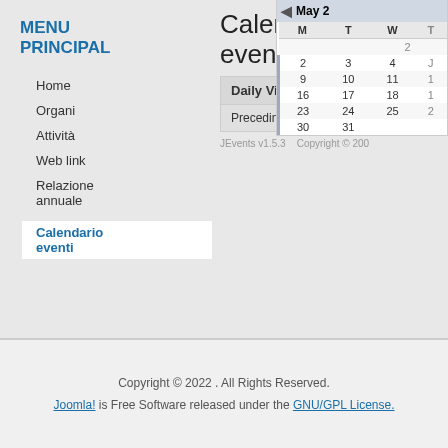MENU PRINCIPAL
Home
Organi
Attività
Web link
Relazione annuale
Calendario eventi
Calendario eventi
[Figure (screenshot): Daily View panel with Preceding Day and Tuesday, 03 May 20XX navigation buttons]
[Figure (other): Mini calendar widget showing May with days M T W T columns, dates 2-4, 9-11, 16-18, 23-25, 30-31]
JEvents v1.5.3    Copyright © 200
Copyright © 2022 . All Rights Reserved.
Joomla! is Free Software released under the GNU/GPL License.